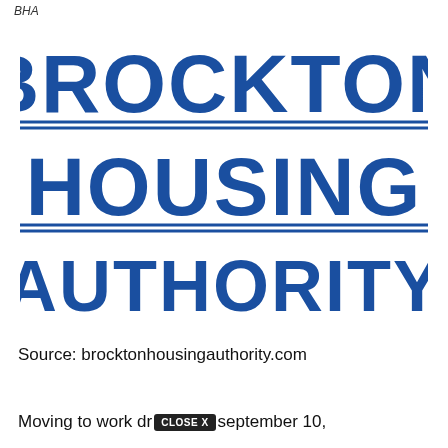BHA
[Figure (logo): Brockton Housing Authority logo with three lines of bold blue text: BROCKTON, HOUSING, AUTHORITY, separated by double horizontal rules in blue.]
Source: brocktonhousingauthority.com
Moving to work dr… september 10,